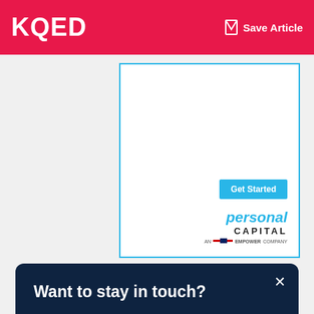KQED | Save Article
[Figure (advertisement): Personal Capital advertisement with 'Get Started' button, showing 'personal CAPITAL AN EMPOWER COMPANY' logo, framed in a light blue border]
Want to stay in touch?
Sign up to receive a weekly email update of MindShift stories every Sunday, plus curated content from teacher-trusted sources.
Sign Up